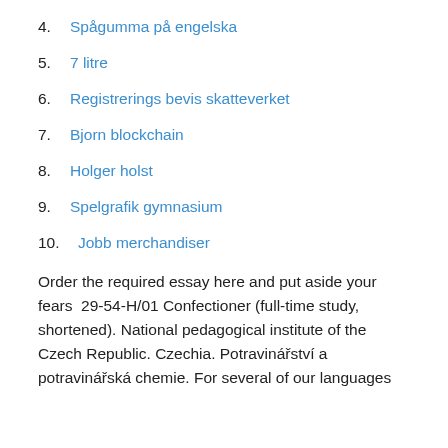4. Spågumma på engelska
5. 7 litre
6. Registrerings bevis skatteverket
7. Bjorn blockchain
8. Holger holst
9. Spelgrafik gymnasium
10. Jobb merchandiser
Order the required essay here and put aside your fears  29-54-H/01 Confectioner (full-time study, shortened). National pedagogical institute of the Czech Republic. Czechia. Potravinářství a potravinářská chemie. For several of our languages